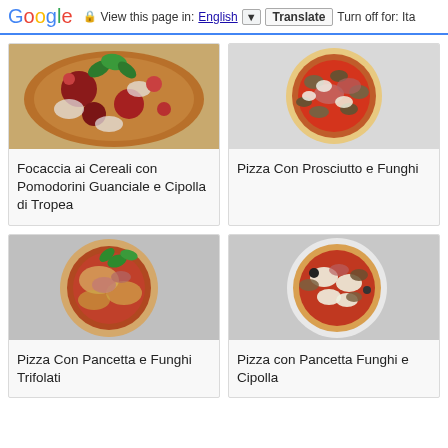Google  View this page in: English [▼]  Translate  Turn off for: Ita
[Figure (photo): Photo of Focaccia ai Cereali con Pomodorini Guanciale e Cipolla di Tropea - a flatbread topped with tomatoes, onions, basil, and various toppings]
Focaccia ai Cereali con Pomodorini Guanciale e Cipolla di Tropea
[Figure (photo): Photo of Pizza Con Prosciutto e Funghi - a pizza with prosciutto and mushrooms on a white plate]
Pizza Con Prosciutto e Funghi
[Figure (photo): Photo of Pizza Con Pancetta e Funghi Trifolati - a pizza with pancetta and sautéed mushrooms]
Pizza Con Pancetta e Funghi Trifolati
[Figure (photo): Photo of Pizza con Pancetta Funghi e Cipolla - a pizza with pancetta, mushrooms and onion on a white plate]
Pizza con Pancetta Funghi e Cipolla